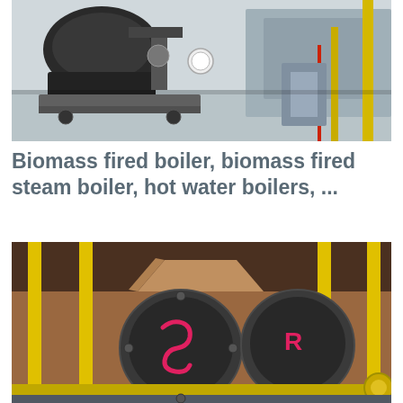[Figure (photo): Industrial boiler equipment in a facility, showing machinery with a gas burner/motor unit mounted on the left, pressure gauges, yellow safety barriers/rails, and industrial equipment in the background.]
Biomass fired boiler, biomass fired steam boiler, hot water boilers, ...
Recommended product from this supplier. Steam Gas Boiler China Manufacturer Taiguo Boiler 0.5/1/2/3/4/5/6 Ton Industrial Boiler. FOB Price: US $ 6000-285000 / Set. Min. Order: 1 Set. Function:....
[Figure (photo): Industrial boilers lined up in a row, with yellow vertical pipes/rails in the foreground, showing circular boiler end caps with pink/red markings.]